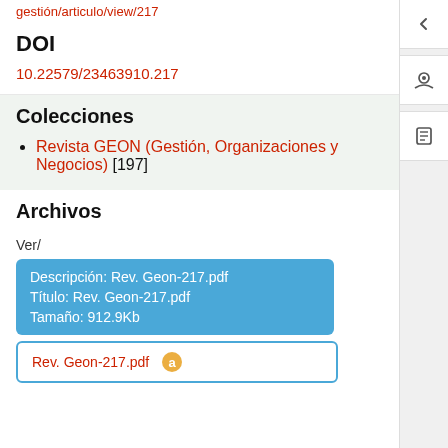gestión/articulo/view/217
DOI
10.22579/23463910.217
Colecciones
Revista GEON (Gestión, Organizaciones y Negocios) [197]
Archivos
Ver/
Descripción: Rev. Geon-217.pdf
Título: Rev. Geon-217.pdf
Tamaño: 912.9Kb
Rev. Geon-217.pdf